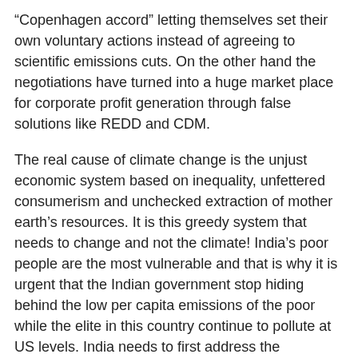“Copenhagen accord” letting themselves set their own voluntary actions instead of agreeing to scientific emissions cuts. On the other hand the negotiations have turned into a huge market place for corporate profit generation through false solutions like REDD and CDM.
The real cause of climate change is the unjust economic system based on inequality, unfettered consumerism and unchecked extraction of mother earth’s resources. It is this greedy system that needs to change and not the climate! India’s poor people are the most vulnerable and that is why it is urgent that the Indian government stop hiding behind the low per capita emissions of the poor while the elite in this country continue to pollute at US levels. India needs to first address the inequality in this country and stop its development model of high-consumption and high-emission. India is instead promoting false solutions like agro-fuels, that displace food crops in a situation of hunger and proposing